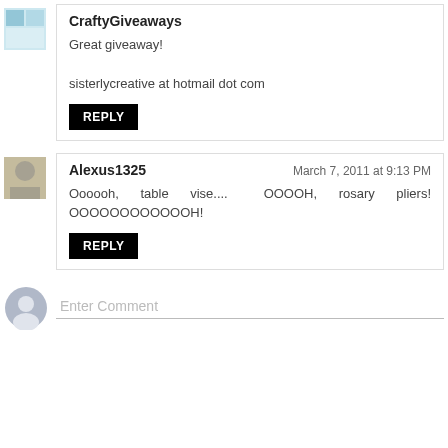CraftyGiveaways
Great giveaway!

sisterlycreative at hotmail dot com
Alexus1325 — March 7, 2011 at 9:13 PM
Oooooh, table vise.... OOOOH, rosary pliers! OOOOOOOOOOOOH!
Enter Comment